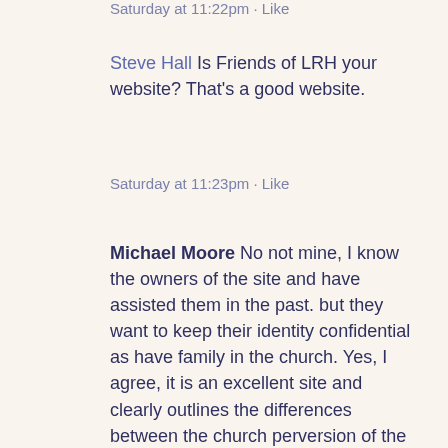Saturday at 11:22pm · Like
Steve Hall Is Friends of LRH your website? That's a good website.
Saturday at 11:23pm · Like
Michael Moore No not mine, I know the owners of the site and have assisted them in the past. but they want to keep their identity confidential as have family in the church. Yes, I agree, it is an excellent site and clearly outlines the differences between the church perversion of the tech and the real tech. All our sites can be seen on the links on